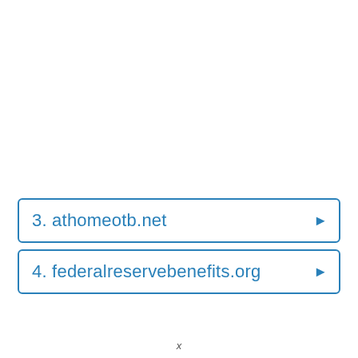3. athomeotb.net
4. federalreservebenefits.org
x